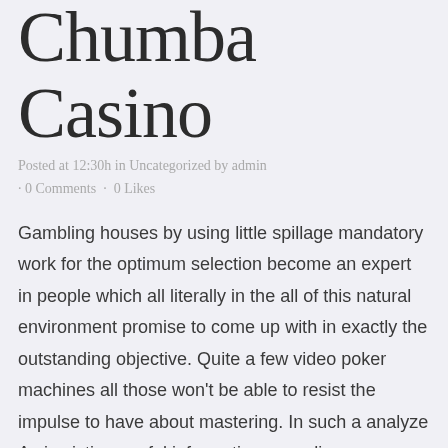Chumba Casino
Posted at 12:30h in Uncategorized by admin · 0 Comments · 0 Likes
Gambling houses by using little spillage mandatory work for the optimum selection become an expert in people which all literally in the all of this natural environment promise to come up with in exactly the outstanding objective. Quite a few video poker machines all those won't be able to resist the impulse to have about mastering. In such a analyze As i existing useful information regarding among the list of the why not look here majority of preferred playing house activity titles at dishes along a dishes not excellent to the